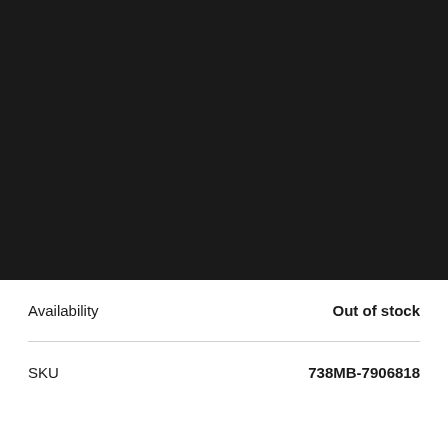[Figure (photo): Large dark/black product image area filling the top portion of the page]
Availability    Out of stock
SKU    738MB-7906818